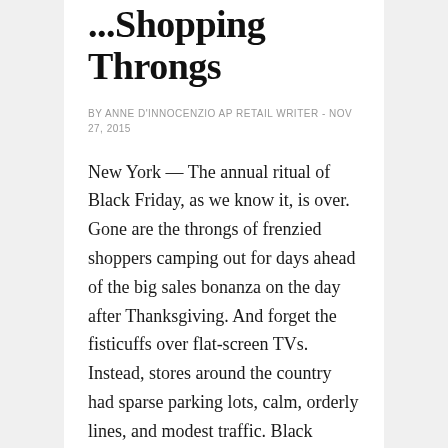...Shopping Throngs
BY ANNE D'INNOCENZIO AP RETAIL WRITER - NOV 27, 2015
New York — The annual ritual of Black Friday, as we know it, is over. Gone are the throngs of frenzied shoppers camping out for days ahead of the big sales bonanza on the day after Thanksgiving. And forget the fisticuffs over flat-screen TVs. Instead, stores around the country had sparse parking lots, calm, orderly lines, and modest traffic. Black Friday, which traditionally is the biggest